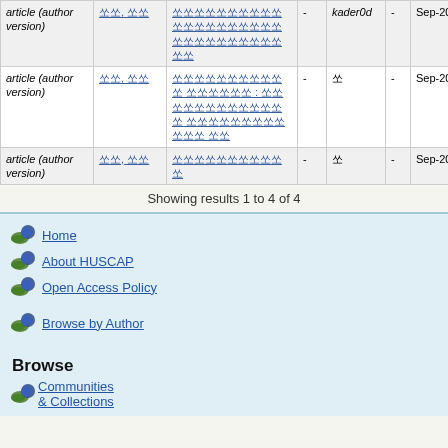| Type | Author | Title |  | kader0d |  | Date |
| --- | --- | --- | --- | --- | --- | --- |
| article (author version) | 쏘, 쏘 | 쏘쏘쏘쏘쏘쏘쏘쏘쏘쏘 쏘쏘쏘쏘쏘쏘쏘쏘쏘쏘 쏘쏘 | - | kader0d | - | Sep-2011 |
| article (author version) | 쏘쏘, 쏘쏘 | 쏘쏘쏘쏘쏘쏘쏘쏘쏘쏘쏘 쏘쏘쏘쏘쏘쏘 : 쏘쏘 쏘쏘쏘쏘쏘쏘쏘쏘쏘쏘쏘 쏘쏘쏘쏘쏘쏘쏘쏘쏘쏘쏘쏘 쏘쏘 | - | 쏘 | - | Sep-2011 |
| article (author version) | 쏘쏘, 쏘쏘 | 쏘쏘쏘쏘쏘쏘쏘쏘쏘쏘쏘 | - | 쏘 | - | Sep-2012 |
Showing results 1 to 4 of 4
Home
About HUSCAP
Open Access Policy
Browse by Author
Browse
Communities & Collections